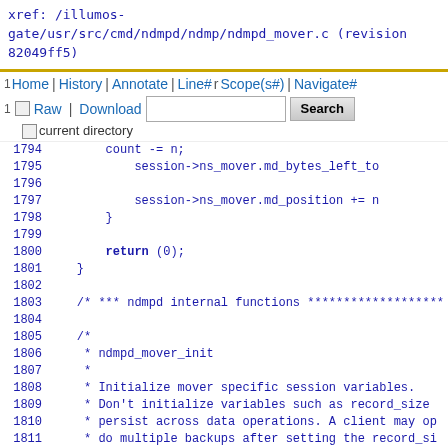xref: /illumos-gate/usr/src/cmd/ndmpd/ndmp/ndmpd_mover.c (revision 82049ff5)
1 Home | History | Annotate | Line# re Scope(s#) | Navigate# 1 Raw | Download [Search] current directory
1794  count -= n;
1795      session->ns_mover.md_bytes_left_to
1796
1797          session->ns_mover.md_position += n
1798          }
1799
1800          return (0);
1801      }
1802
1803      /* *** ndmpd internal functions *******************
1804
1805      /*
1806       * ndmpd_mover_init
1807       *
1808       * Initialize mover specific session variables.
1809       * Don't initialize variables such as record_size
1810       * persist across data operations. A client may op
1811       * do multiple backups after setting the record_si
1812       *
1813       * Parameters:
1814       *    session (input) - session pointer.
1815       *
1816       * Returns:
1817       *    0 - success.